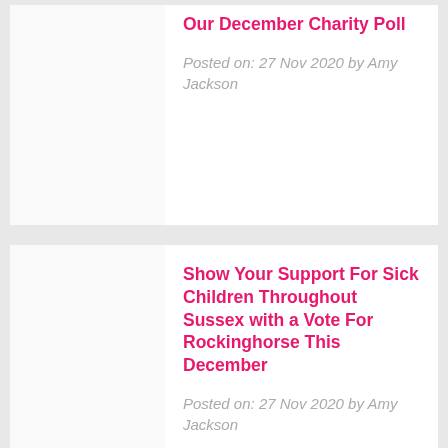Our December Charity Poll
Posted on: 27 Nov 2020 by Amy Jackson
Show Your Support For Sick Children Throughout Sussex with a Vote For Rockinghorse This December
Posted on: 27 Nov 2020 by Amy Jackson
Support Bath's Local Mental Health Charity This November with a Vote for